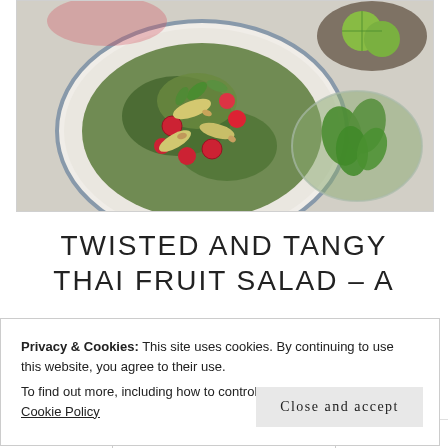[Figure (photo): Overhead photograph of a Thai fruit salad on a white plate with blue rim, showing cherries, green herbs (spinach/basil), apple slices and nuts. Beside it is a glass bowl of fresh green mint/basil leaves, and lime halves in a dark bowl, all on a light grey/white textured surface.]
TWISTED AND TANGY THAI FRUIT SALAD – A
Privacy & Cookies: This site uses cookies. By continuing to use this website, you agree to their use.
To find out more, including how to control cookies, see here: Our Cookie Policy
Close and accept